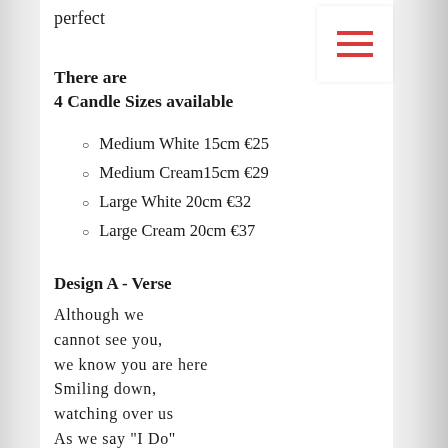perfect
There are
4 Candle Sizes available
Medium White 15cm €25
Medium Cream 15cm €29
Large White 20cm €32
Large Cream 20cm €37
Design A - Verse
Although we
cannot see you,
we know you are here
Smiling down,
watching over us
As we say "I Do"
Forever in our hearts,
Forever in our lives,
And so we say our vows